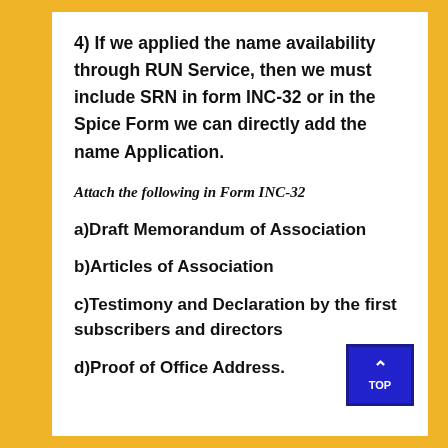4) If we applied the name availability through RUN Service, then we must include SRN in form INC-32 or in the Spice Form we can directly add the name Application.
Attach the following in Form INC-32
a)Draft Memorandum of Association
b)Articles of Association
c)Testimony and Declaration by the first subscribers and directors
d)Proof of Office Address.